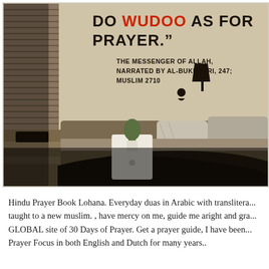[Figure (photo): A bedroom scene with a bed, pillows, nightstand with plant, shelving unit on the left, blinds on the far left, and a wall lamp. Overlaid text shows an Islamic quote about wudoo (ablution) for sleep, attributed to The Messenger of Allah, narrated by Al-Bukhaari 247; Muslim 2710. The word WUDOO is in red, other text in bold black.]
Hindu Prayer Book Lohana. Everyday duas in Arabic with translitera... taught to a new muslim. , have mercy on me, guide me aright and gra... GLOBAL site of 30 Days of Prayer. Get a prayer guide, I have been... Prayer Focus in both English and Dutch for many years..